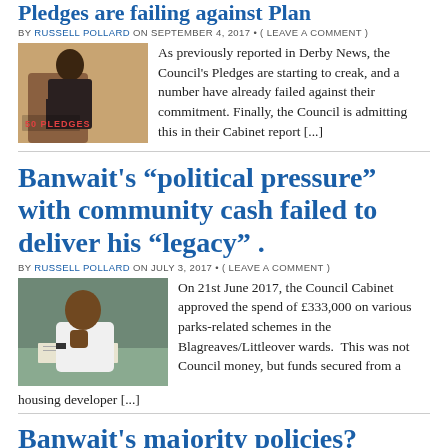Pledges are failing against Plan
BY RUSSELL POLLARD ON SEPTEMBER 4, 2017 • ( LEAVE A COMMENT )
[Figure (photo): Person in suit sitting in a chair, photo with '50 PLEDGES' label overlay]
As previously reported in Derby News, the Council's Pledges are starting to creak, and a number have already failed against their commitment. Finally, the Council is admitting this in their Cabinet report [...]
Banwait's “political pressure” with community cash failed to deliver his “legacy” .
BY RUSSELL POLLARD ON JULY 3, 2017 • ( LEAVE A COMMENT )
[Figure (photo): Man in white shirt sitting at a desk with papers, resting chin on hand]
On 21st June 2017, the Council Cabinet approved the spend of £333,000 on various parks-related schemes in the Blagreaves/Littleover wards.  This was not Council money, but funds secured from a housing developer [...]
Banwait's majority policies?